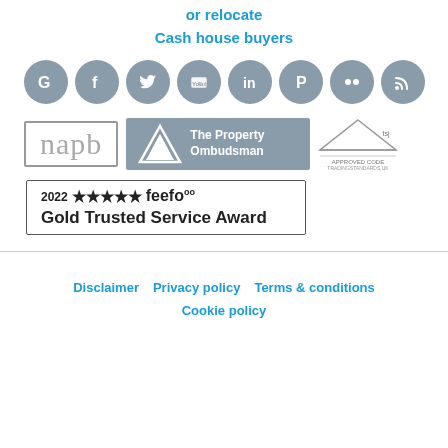or relocate
Cash house buyers
[Figure (logo): Row of social media icons: Google, Facebook, Twitter, YouTube, LinkedIn, Pinterest, Flickr, RSS — all grey circular icons on white background]
[Figure (logo): napb logo in grey bordered rectangle]
[Figure (logo): The Property Ombudsman logo — grey banner with white triangle and text]
[Figure (logo): Approved Code Trading Standards UK logo — grey house-shaped graphic]
[Figure (logo): 2022 five-star feefo Gold Trusted Service Award badge with border and stars]
Disclaimer   Privacy policy   Terms & conditions   Cookie policy